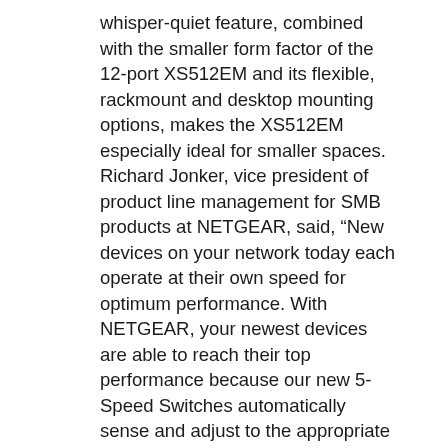whisper-quiet feature, combined with the smaller form factor of the 12-port XS512EM and its flexible, rackmount and desktop mounting options, makes the XS512EM especially ideal for smaller spaces. Richard Jonker, vice president of product line management for SMB products at NETGEAR, said, “New devices on your network today each operate at their own speed for optimum performance. With NETGEAR, your newest devices are able to reach their top performance because our new 5-Speed Switches automatically sense and adjust to the appropriate speed on a per port basis, over existing cabling. They make it easy on your IT budget, too.” The new Multi-Gigabit Smart Managed Plus Switches deliver the full set of powerful features of other NETGEAR Smart Managed Plus Switches — including network monitoring, traffic prioritisation, and network segmentation — to small businesses who want more visibility and control on top of plug-and-play connectivity. Easy-to-use web browser-based management GUI makes advanced setup simple. Features include:
- QoS, VLAN and network monitoring